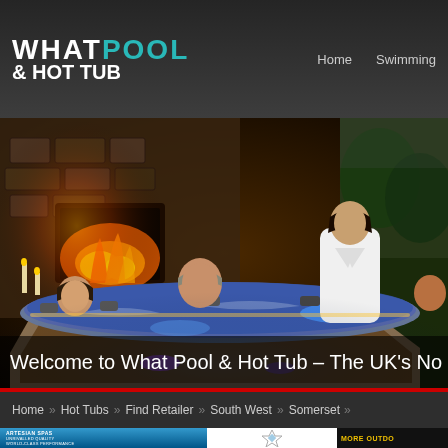[Figure (logo): What Pool & Hot Tub logo — WHAT in white, POOL in teal, & HOT TUB in white, dark background]
Home   Swimming
[Figure (photo): People relaxing in an illuminated hot tub indoors, warm fireplace in background, one person in white robe standing, others seated in water]
Welcome to What Pool & Hot Tub – The UK's No
Home » Hot Tubs » Find Retailer » South West » Somerset »
[Figure (logo): Artesian Spas logo with text: UNRIVALLED QUALITY WORLD-CLASS PERFORMANCE LUXURY AMERICAN HOT TUBS]
[Figure (logo): Award logo — diamond/hexagon icon]
[Figure (other): MORE OUTDO HOT TUB_ text in yellow on dark background]